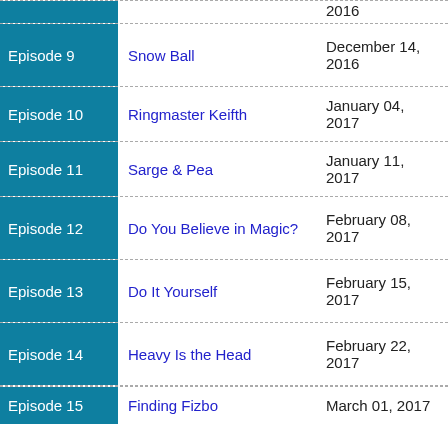| Episode | Title | Air Date |
| --- | --- | --- |
| Episode 9 | Snow Ball | December 14, 2016 |
| Episode 10 | Ringmaster Keifth | January 04, 2017 |
| Episode 11 | Sarge & Pea | January 11, 2017 |
| Episode 12 | Do You Believe in Magic? | February 08, 2017 |
| Episode 13 | Do It Yourself | February 15, 2017 |
| Episode 14 | Heavy Is the Head | February 22, 2017 |
| Episode 15 | Finding Fizbo | March 01, 2017 |